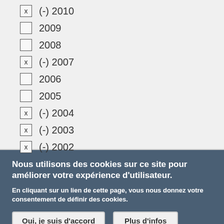x (-) 2010
2009
2008
x (-) 2007
2006
2005
x (-) 2004
x (-) 2003
x (-) 2002
Nous utilisons des cookies sur ce site pour améliorer votre expérience d'utilisateur.
En cliquant sur un lien de cette page, vous nous donnez votre consentement de définir des cookies.
Oui, je suis d'accord
Plus d'infos